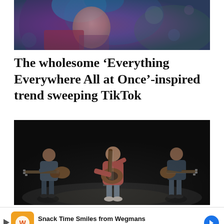[Figure (photo): Partial face of a person with blue-dyed hair and colorful clothing, blurred/bokeh style photo]
The wholesome ‘Everything Everywhere All at Once’-inspired trend sweeping TikTok
[Figure (photo): Three musicians playing acoustic guitars on a dark stage; center musician wears a pink/red shirt and sits on a stool]
Snack Time Smiles from Wegmans Wegmans